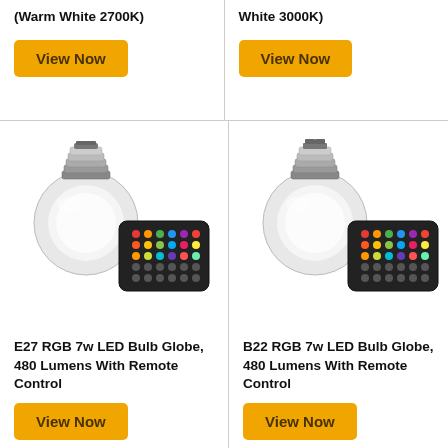(Warm White 2700K)
[Figure (other): Yellow 'View Now' button]
White 3000K)
[Figure (other): Yellow 'View Now' button]
[Figure (photo): E27 RGB 7w LED Bulb Globe with multicolor remote control]
E27 RGB 7w LED Bulb Globe, 480 Lumens With Remote Control
[Figure (other): Yellow 'View Now' button]
[Figure (photo): B22 RGB 7w LED Bulb Globe with multicolor remote control]
B22 RGB 7w LED Bulb Globe, 480 Lumens With Remote Control
[Figure (other): Yellow 'View Now' button]